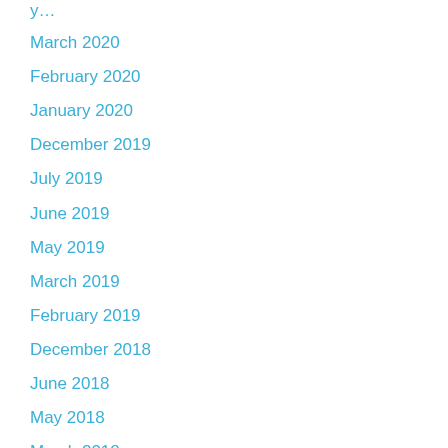March 2020
February 2020
January 2020
December 2019
July 2019
June 2019
May 2019
March 2019
February 2019
December 2018
June 2018
May 2018
March 2018